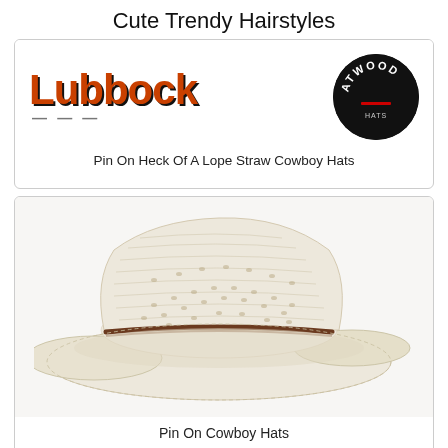Cute Trendy Hairstyles
[Figure (photo): Lubbock hat store logo with orange text reading 'Lubbock' and a black circular Atwood badge on the right, partial view]
Pin On Heck Of A Lope Straw Cowboy Hats
[Figure (photo): A beige/natural straw cowboy hat with wide brim, diamond-pattern ventilation holes, and a brown leather band, photographed on white background]
Pin On Cowboy Hats